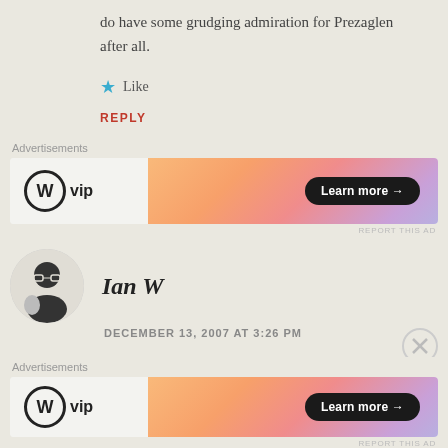do have some grudging admiration for Prezaglen after all.
★ Like
REPLY
Advertisements
[Figure (other): WordPress VIP advertisement banner with orange/pink gradient and 'Learn more →' button]
REPORT THIS AD
Ian W
[Figure (photo): Black and white circular avatar photo of a man with glasses]
DECEMBER 13, 2007 AT 3:26 PM
Advertisements
[Figure (other): WordPress VIP advertisement banner with orange/pink gradient and 'Learn more →' button (second instance)]
REPORT THIS AD